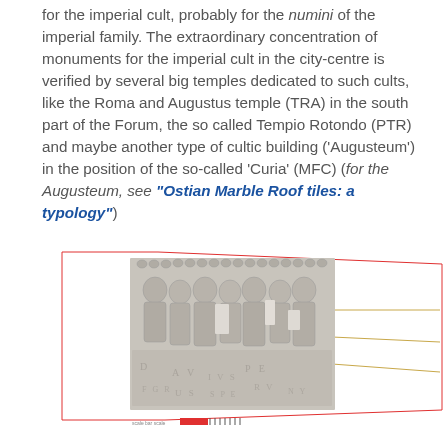for the imperial cult, probably for the numini of the imperial family. The extraordinary concentration of monuments for the imperial cult in the city-centre is verified by several big temples dedicated to such cults, like the Roma and Augustus temple (TRA) in the south part of the Forum, the so called Tempio Rotondo (PTR) and maybe another type of cultic building ('Augusteum') in the position of the so-called 'Curia' (MFC) (for the Augusteum, see "Ostian Marble Roof tiles: a typology")
[Figure (photo): Photograph of a fragmented marble relief frieze with carved figures, overlaid with architectural diagram lines in red. Below the image is a scale bar with a red rectangle and tick marks.]